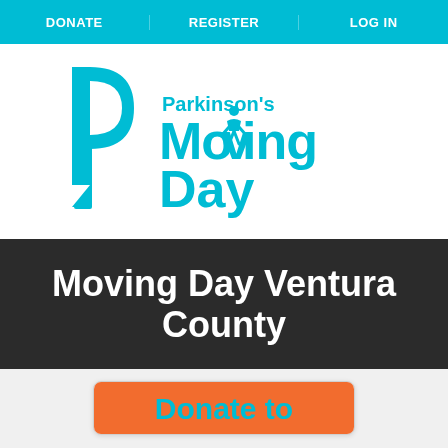DONATE | REGISTER | LOG IN
[Figure (logo): Parkinson's Moving Day logo with teal P letterform and text 'Parkinson's Moving Day']
Moving Day Ventura County
[Figure (screenshot): Orange donate button card with teal text 'Donate to']